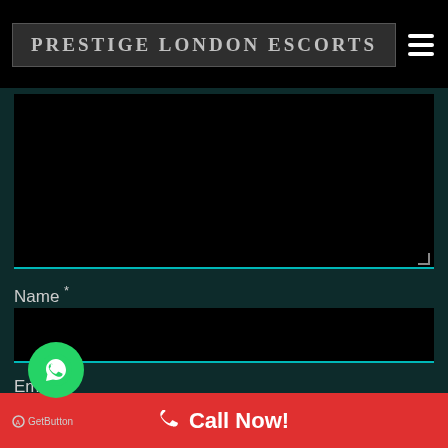PRESTIGE LONDON ESCORTS
[Figure (screenshot): Dark web form with textarea, Name field, Email field, WhatsApp button, and Call Now bar]
Name *
Email *
Call Now!